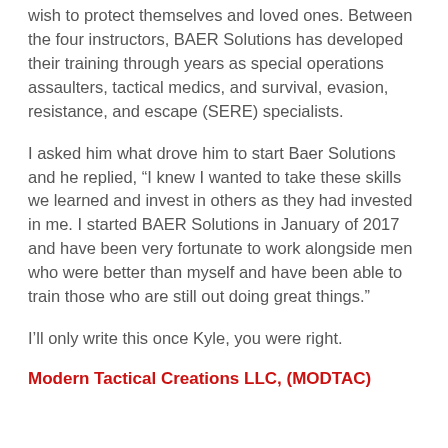wish to protect themselves and loved ones. Between the four instructors, BAER Solutions has developed their training through years as special operations assaulters, tactical medics, and survival, evasion, resistance, and escape (SERE) specialists.
I asked him what drove him to start Baer Solutions and he replied, “I knew I wanted to take these skills we learned and invest in others as they had invested in me. I started BAER Solutions in January of 2017 and have been very fortunate to work alongside men who were better than myself and have been able to train those who are still out doing great things.”
I’ll only write this once Kyle, you were right.
Modern Tactical Creations LLC, (MODTAC)